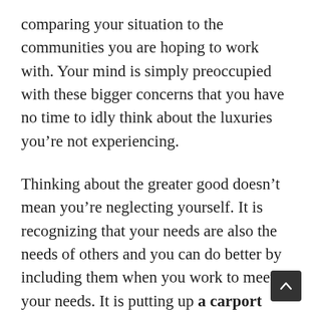comparing your situation to the communities you are hoping to work with. Your mind is simply preoccupied with these bigger concerns that you have no time to idly think about the luxuries you’re not experiencing.
Thinking about the greater good doesn’t mean you’re neglecting yourself. It is recognizing that your needs are also the needs of others and you can do better by including them when you work to meet your needs. It is putting up a carport canopy for people who are waiting for their rides instead of simply carrying an umbrella for your individual use. Of course bigger issues, like food security, have bigger